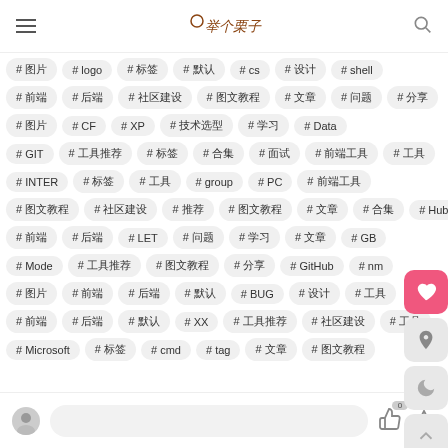举个栗子 (app header with menu and search)
[Figure (screenshot): Grid of hashtag topic tags including: #图片, #logo, #标签, #默认, #cs, #设计, #shell, #前端, #后端, #社区建设, #图文教程, #文章, #问题, #分享, #图片, #CF, #XP, #技术选型, #学习, #Data, #GIT, #工具推荐, #标签, #合集, #面试, #前端工具, #工具, #INTER, #标签, #工具, #group, #PC, #前端工具, #图文教程, #社区建设, #推荐, #图文教程, #文章, #合集, #Hub, #前端, #后端, #LET, #问题, #学习, #文章, #GB, #Mode, #工具推荐, #图文教程, #分享, #GitHub, #nm, #图片, #前端, #后端, #默认, #BUG, #设计, #工具, #前端, #后端, #默认, #XX, #工具推荐, #社区建设, #工具, #Microsoft, #标签, #cmd, #tag, #文章, #图文教程]
Bottom navigation bar with avatar, input, like (0), and star icons